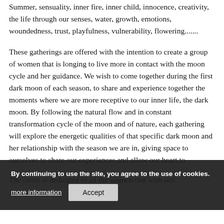Summer, sensuality, inner fire, inner child, innocence, creativity, the life through our senses, water, growth, emotions, woundedness, trust, playfulness, vulnerability, flowering.......
These gatherings are offered with the intention to create a group of women that is longing to live more in contact with the moon cycle and her guidance. We wish to come together during the first dark moon of each season, to share and experience together the moments where we are more receptive to our inner life, the dark moon. By following the natural flow and in constant transformation cycle of the moon and of nature, each gathering will explore the energetic qualities of that specific dark moon and her relationship with the season we are in, giving space to ourselves to share our experiences and allow our heart to
The circle is dedicated to all the women that with self
By continuing to use the site, you agree to the use of cookies.